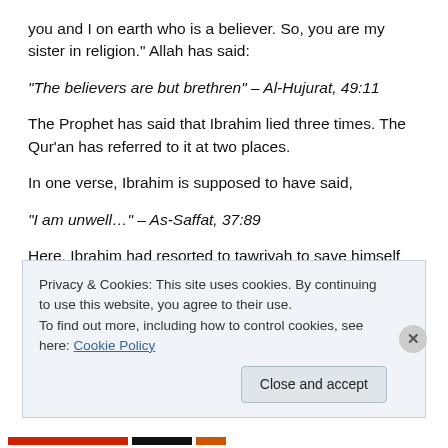you and I on earth who is a believer. So, you are my sister in religion.” Allah has said:
“The believers are but brethren” – Al-Hujurat, 49:11
The Prophet has said that Ibrahim lied three times. The Qur’an has referred to it at two places.
In one verse, Ibrahim is supposed to have said,
“I am unwell…” – As-Saffat, 37:89
Here, Ibrahim had resorted to tawriyah to save himself
Privacy & Cookies: This site uses cookies. By continuing to use this website, you agree to their use.
To find out more, including how to control cookies, see here: Cookie Policy
Close and accept